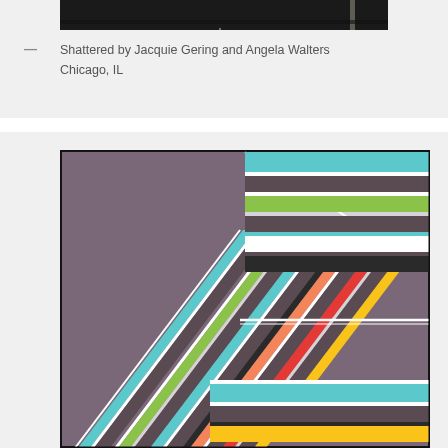[Figure (photo): Partial view of a dark quilt or textile artwork displayed on a wall, mostly obscured, showing dark fabric]
— Shattered by Jacquie Gering and Angela Walters
Chicago, IL
[Figure (photo): A colorful chevron/herringbone pattern quilt with a mauve/gray background and multicolored striped bands in teal, green, orange, red, yellow, and white arranged in a V-shaped geometric pattern]